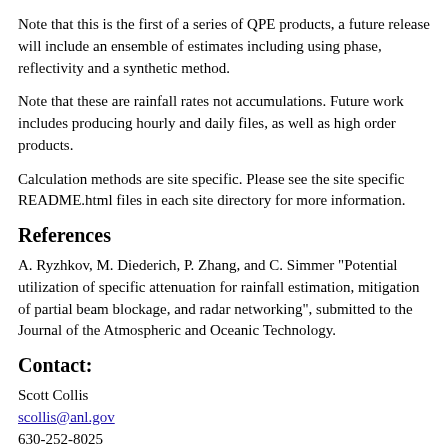Note that this is the first of a series of QPE products, a future release will include an ensemble of estimates including using phase, reflectivity and a synthetic method.
Note that these are rainfall rates not accumulations. Future work includes producing hourly and daily files, as well as high order products.
Calculation methods are site specific. Please see the site specific README.html files in each site directory for more information.
References
A. Ryzhkov, M. Diederich, P. Zhang, and C. Simmer "Potential utilization of specific attenuation for rainfall estimation, mitigation of partial beam blockage, and radar networking", submitted to the Journal of the Atmospheric and Oceanic Technology.
Contact:
Scott Collis
scollis@anl.gov
630-252-8025